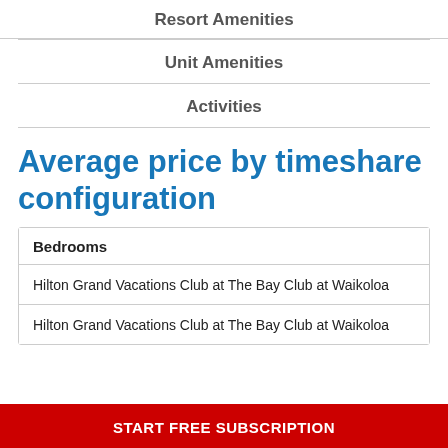Resort Amenities
Unit Amenities
Activities
Average price by timeshare configuration
| Bedrooms |
| --- |
| Hilton Grand Vacations Club at The Bay Club at Waikoloa |
| Hilton Grand Vacations Club at The Bay Club at Waikoloa |
START FREE SUBSCRIPTION